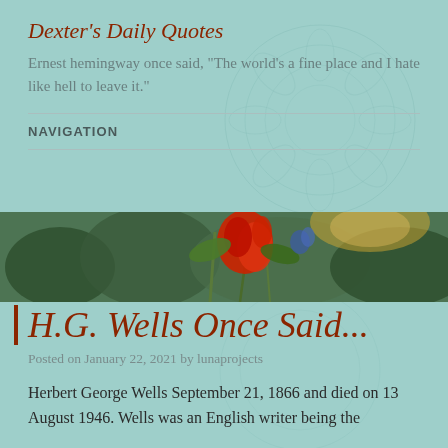Dexter's Daily Quotes
Ernest hemingway once said, "The world's a fine place and I hate like hell to leave it."
NAVIGATION
[Figure (photo): A photo banner showing red flowers and green foliage in an outdoor garden setting]
H.G. Wells Once Said...
Posted on January 22, 2021 by lunaprojects
Herbert George Wells September 21, 1866 and died on 13 August 1946. Wells was an English writer being the